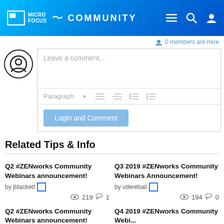Micro Focus Community
0 members are here
Leave a comment...
Paragraph
Login and Comment
Related Tips & Info
Q2 #ZENworks Community Webinars announcement! by jblackett 219 views 1 comment
Q3 2019 #ZENworks Community Webinars Announcement! by vderebail 194 views 0 comments
Q2 #ZENworks Community Webinars announcement!
Q4 2019 #ZENworks Community Webi...